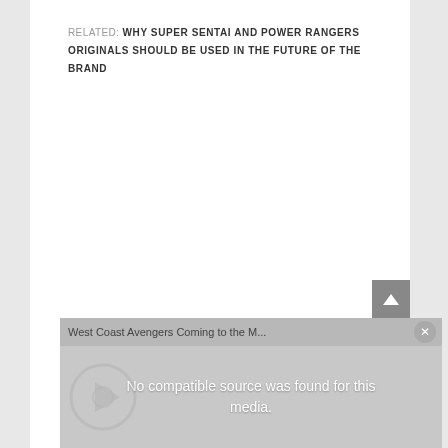RELATED: WHY SUPER SENTAI AND POWER RANGERS ORIGINALS SHOULD BE USED IN THE FUTURE OF THE BRAND
[Figure (screenshot): Video player showing 'West Coast Avengers Coming to the M...' with message 'No compatible source was found for this media.']